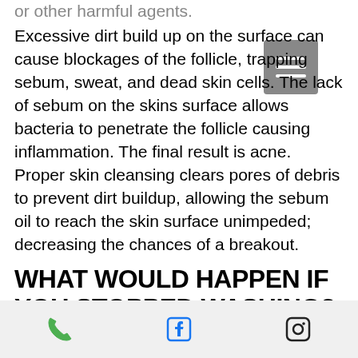or other harmful agents. Excessive dirt build up on the surface can cause blockages of the follicle, trapping sebum, sweat, and dead skin cells. The lack of sebum on the skins surface allows bacteria to penetrate the follicle causing inflammation. The final result is acne. Proper skin cleansing clears pores of debris to prevent dirt buildup, allowing the sebum oil to reach the skin surface unimpeded; decreasing the chances of a breakout.
WHAT WOULD HAPPEN IF YOU STOPPED WASHING?
If you completely stopped washing...